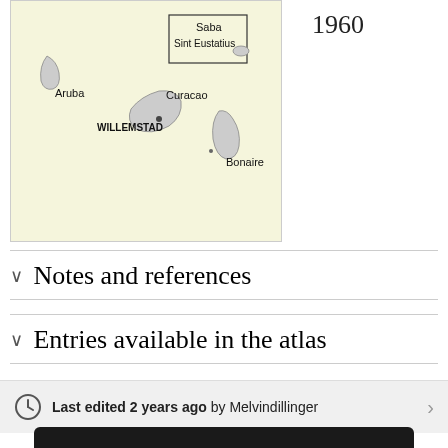[Figure (map): Map of Netherlands Antilles islands including Aruba, Curacao, Bonaire, Saba, Sint Eustatius with Willemstad marked]
1960
Notes and references
Entries available in the atlas
Last edited 2 years ago by Melvindillinger
Redirected from "Atlas of Saba"